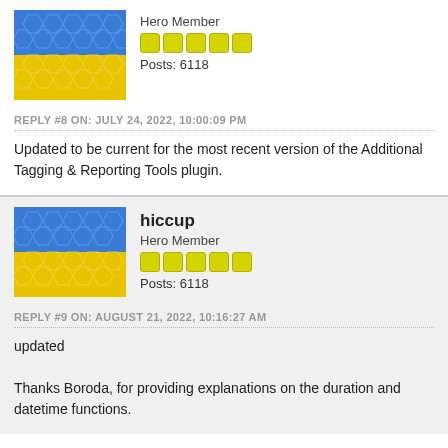[Figure (illustration): Avatar image with blue and yellow hexagonal pattern, top post]
Hero Member
Posts: 6118
REPLY #8 ON: JULY 24, 2022, 10:00:09 PM
Updated to be current for the most recent version of the Additional Tagging & Reporting Tools plugin.
[Figure (illustration): Avatar image with blue and yellow hexagonal pattern, hiccup user]
hiccup
Hero Member
Posts: 6118
REPLY #9 ON: AUGUST 21, 2022, 10:16:27 AM
updated

Thanks Boroda, for providing explanations on the duration and datetime functions.